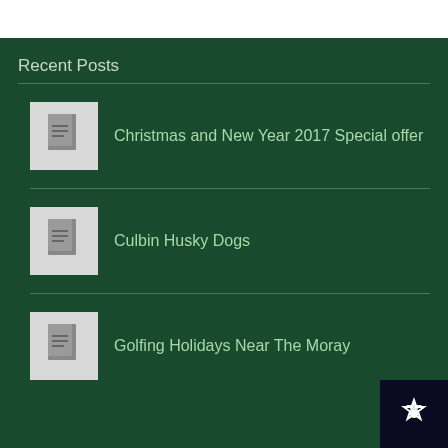Recent Posts
Christmas and New Year 2017 Special offer
Culbin Husky Dogs
Golfing Holidays Near The Moray